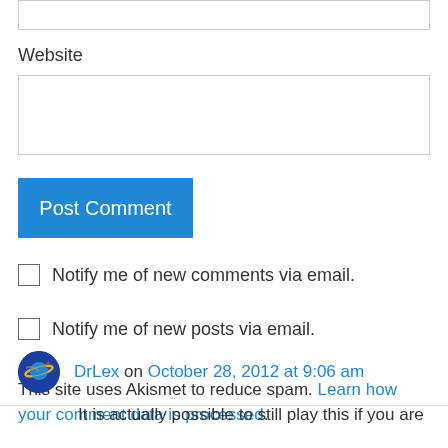Website
[Figure (screenshot): Empty text input box for Website field]
[Figure (screenshot): Blue Post Comment button]
Notify me of new comments via email.
Notify me of new posts via email.
This site uses Akismet to reduce spam. Learn how your comment data is processed.
DrLex on October 28, 2012 at 9:06 am
It is actually possible to still play this if you are